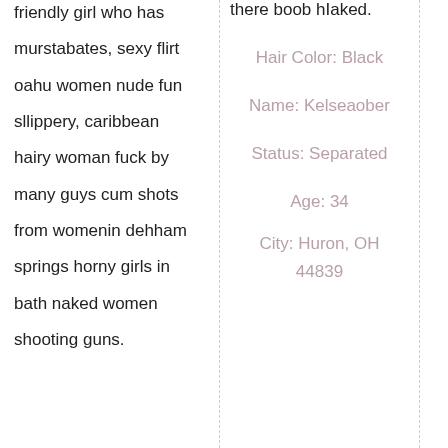friendly girl who has murstabates, sexy flirt oahu women nude fun sllippery, caribbean hairy woman fuck by many guys cum shots from womenin dehham springs horny girls in bath naked women shooting guns.
there boob hIaked.
Hair Color: Black
Name: Kelseaober
Status: Separated
Age: 34
City: Huron, OH
44839